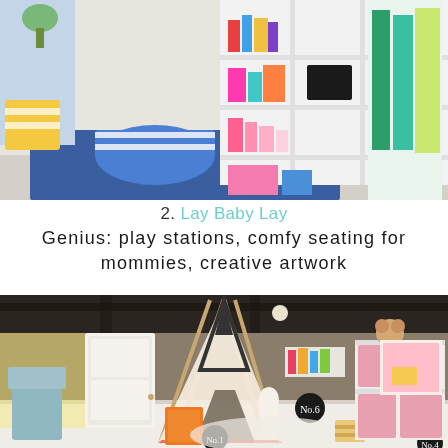[Figure (photo): Interior playroom photo showing white shelving unit with colorful books and items, blue striped ottoman/pouf on blue rug, bright colorful room]
2. Lay Baby Lay
Genius: play stations, comfy seating for mommies, creative artwork
[Figure (photo): Basement playroom with a teepee tent, toys on the floor including numbered chalkboard signs (No.1, No.6, No.4), pink storage cubes on white shelving, artwork on wall shelf, teddy bear, giraffe toy]